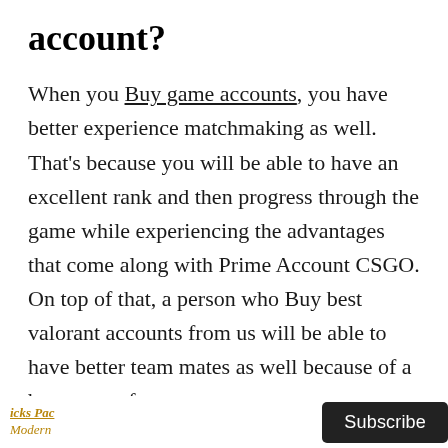account?
When you Buy game accounts, you have better experience matchmaking as well. That's because you will be able to have an excellent rank and then progress through the game while experiencing the advantages that come along with Prime Account CSGO. On top of that, a person who Buy best valorant accounts from us will be able to have better team mates as well because of a better trust factor.
If you are not interested to play CSGO with new comer players, then this is the right option available
icks Pac
Modern
Subscribe